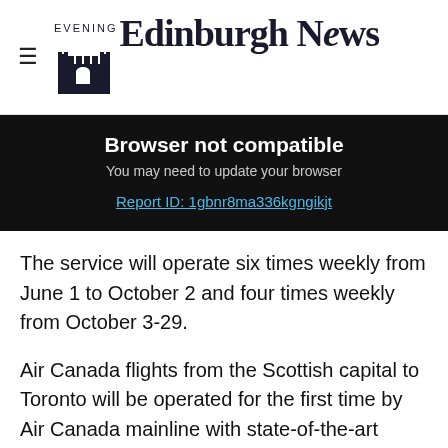Edinburgh Evening News
Browser not compatible
You may need to update your browser
Report ID: 1gbnr8ma336kgngikjt
The service will operate six times weekly from June 1 to October 2 and four times weekly from October 3-29.
Air Canada flights from the Scottish capital to Toronto will be operated for the first time by Air Canada mainline with state-of-the-art Boeing 787-8 Dreamliner aircraft, accommodating 255 passengers, with a choice of three classes of